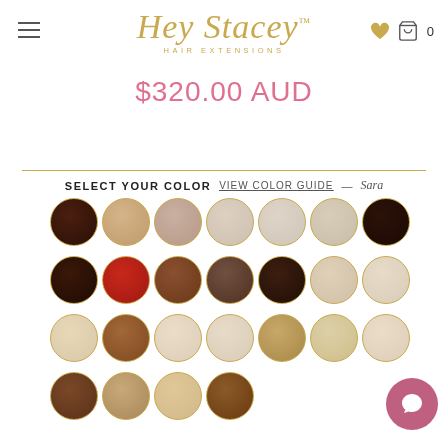[Figure (logo): Hey Stacey Hair Extensions logo in gold script with subtitle]
$320.00 AUD
SELECT YOUR COLOR  VIEW COLOR GUIDE  — Sara
[Figure (illustration): Grid of 25 circular hair color swatches in various shades from dark brown to red to blonde, with gold borders]